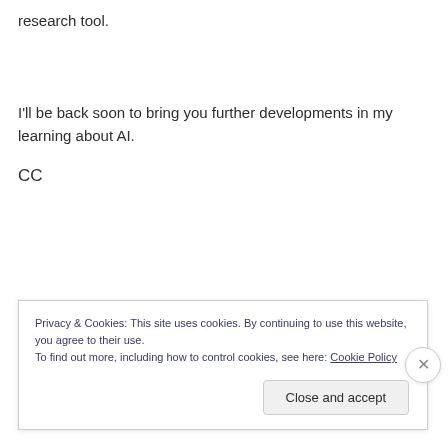research tool.
I'll be back soon to bring you further developments in my learning about AI.
CC
Privacy & Cookies: This site uses cookies. By continuing to use this website, you agree to their use.
To find out more, including how to control cookies, see here: Cookie Policy
Close and accept